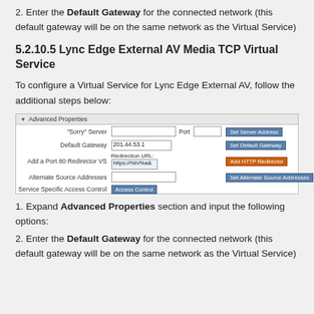2. Enter the Default Gateway for the connected network (this default gateway will be on the same network as the Virtual Service)
5.2.10.5 Lync Edge External AV Media TCP Virtual Service
To configure a Virtual Service for Lync Edge External AV, follow the additional steps below:
[Figure (screenshot): Advanced Properties UI panel showing fields: 'Sorry' Server with Port and Set Server Address button, Default Gateway with value 201.44.53.1 and Set Default Gateway button, Add a Port 80 Redirector VS with Redirection URL field showing https://%h/%a& and Add HTTP Redirector button, Alternate Source Addresses field with Set Alternate Source Addresses button, Service Specific Access Control with Access Control button.]
1. Expand Advanced Properties section and input the following options:
2. Enter the Default Gateway for the connected network (this default gateway will be on the same network as the Virtual Service)